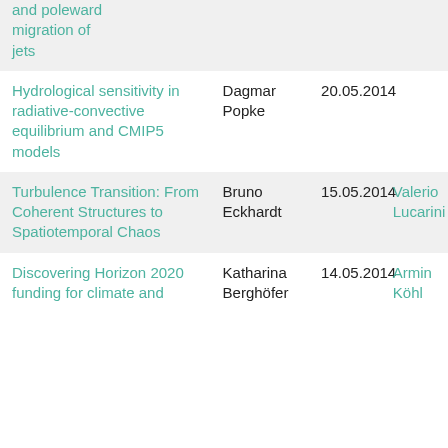| Title | Host | Date | Speaker |
| --- | --- | --- | --- |
| …and poleward migration of jets |  |  |  |
| Hydrological sensitivity in radiative-convective equilibrium and CMIP5 models | Dagmar Popke | 20.05.2014 |  |
| Turbulence Transition: From Coherent Structures to Spatiotemporal Chaos | Bruno Eckhardt | 15.05.2014 | Valerio Lucarini |
| Discovering Horizon 2020 funding for climate and | Katharina Berghöfer | 14.05.2014 | Armin Köhl |